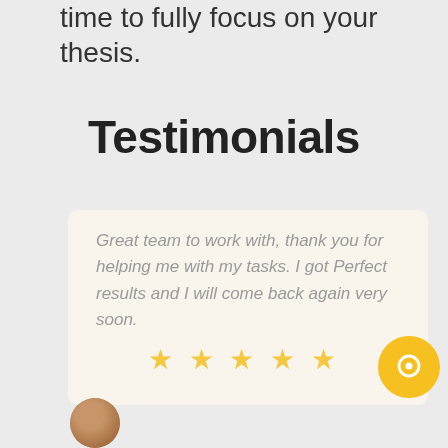time to fully focus on your thesis.
Testimonials
Great team to work with, thank you for helping me with my tasks. I got Perfect results and I will come back again very soon.
[Figure (other): Five gold/yellow star rating icons displayed below the testimonial quote]
[Figure (other): Yellow circular chat/messenger icon with a white speech bubble symbol]
[Figure (photo): Small circular avatar photo of a person at the bottom left of the page]